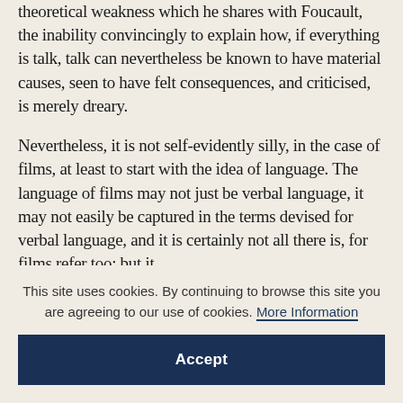theoretical weakness which he shares with Foucault, the inability convincingly to explain how, if everything is talk, talk can nevertheless be known to have material causes, seen to have felt consequences, and criticised, is merely dreary.
Nevertheless, it is not self-evidently silly, in the case of films, at least to start with the idea of language. The language of films may not just be verbal language, it may not easily be captured in the terms devised for verbal language, and it is certainly not all there is, for films refer too; but it
This site uses cookies. By continuing to browse this site you are agreeing to our use of cookies. More Information
Accept